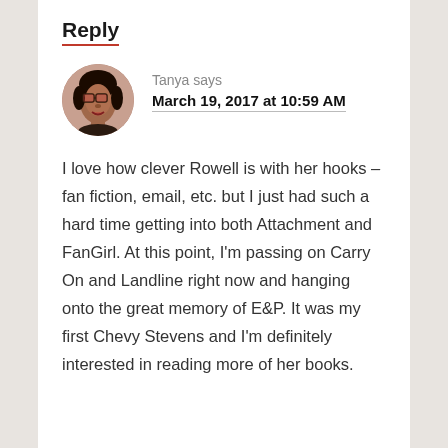Reply
Tanya says
March 19, 2017 at 10:59 AM
I love how clever Rowell is with her hooks – fan fiction, email, etc. but I just had such a hard time getting into both Attachment and FanGirl. At this point, I'm passing on Carry On and Landline right now and hanging onto the great memory of E&P. It was my first Chevy Stevens and I'm definitely interested in reading more of her books.